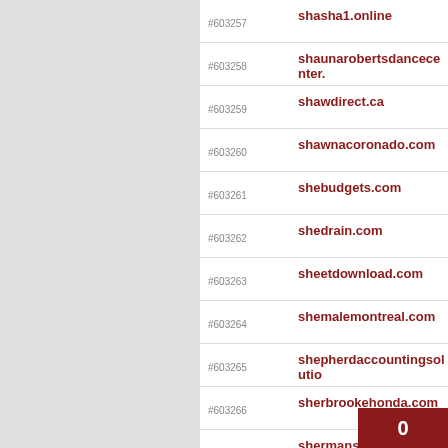#603257 shasha1.online
#603258 shaunarobertsdancecenter.
#603259 shawdirect.ca
#603260 shawnacoronado.com
#603261 shebudgets.com
#603262 shedrain.com
#603263 sheetdownload.com
#603264 shemalemontreal.com
#603265 shepherdaccountingsolutio
#603266 sherbrookehonda.com
#603267 shermansfoodadventures.co
#603268 sherpas.com
#603269 sherwoodkia.ca